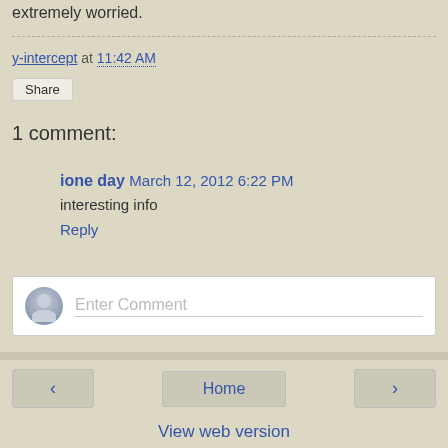extremely worried.
y-intercept at 11:42 AM
Share
1 comment:
ione day March 12, 2012 6:22 PM
interesting info
Reply
Enter Comment
< Home > View web version